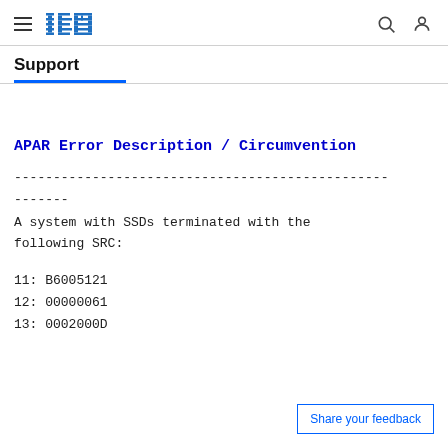IBM Support
Support
APAR Error Description / Circumvention
------------------------------------------------
-------
A system with SSDs terminated with the
following SRC:

11: B6005121
12: 00000061
13: 0002000D
Share your feedback